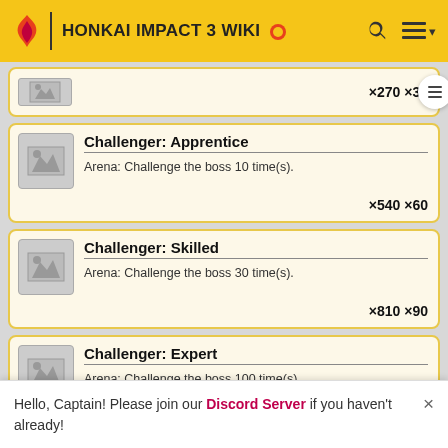HONKAI IMPACT 3 WIKI
×270 ×30
Challenger: Apprentice
Arena: Challenge the boss 10 time(s).
×540 ×60
Challenger: Skilled
Arena: Challenge the boss 30 time(s).
×810 ×90
Challenger: Expert
Arena: Challenge the boss 100 time(s).
×810 ×120
Hello, Captain! Please join our Discord Server if you haven't already!